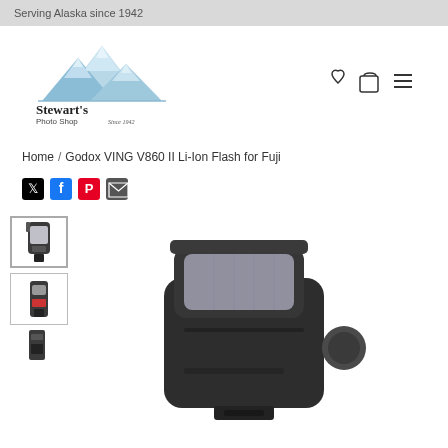Serving Alaska since 1942
[Figure (logo): Stewart's Photo Shop logo with mountain illustration and 'Since 1942' text]
[Figure (infographic): Navigation icons: heart (wishlist), shopping bag, hamburger menu]
Home / Godox VING V860 II Li-Ion Flash for Fuji
[Figure (infographic): Social share icons: Twitter, Facebook, Pinterest, Email]
[Figure (photo): Thumbnail 1: Godox VING V860 II flash unit front view (selected/active)]
[Figure (photo): Thumbnail 2: Godox VING V860 II flash unit side/back view]
[Figure (photo): Thumbnail 3: Partial view of flash unit bottom/battery]
[Figure (photo): Main product image: Godox VING V860 II Li-Ion Flash for Fuji, large front-angled view showing flash head and body]